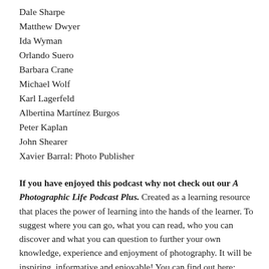Dale Sharpe
Matthew Dwyer
Ida Wyman
Orlando Suero
Barbara Crane
Michael Wolf
Karl Lagerfeld
Albertina Martínez Burgos
Peter Kaplan
John Shearer
Xavier Barral: Photo Publisher
If you have enjoyed this podcast why not check out our A Photographic Life Podcast Plus. Created as a learning resource that places the power of learning into the hands of the learner. To suggest where you can go, what you can read, who you can discover and what you can question to further your own knowledge, experience and enjoyment of photography. It will be inspiring, informative and enjoyable! You can find out here: www.patreon.com/aphotographiclifepodcast